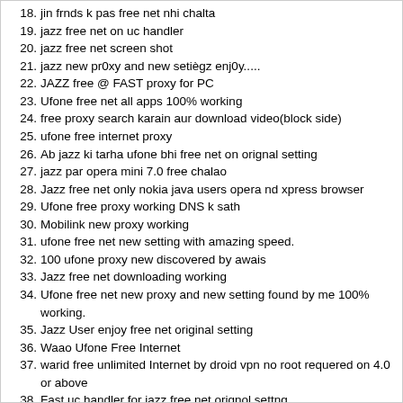18. jin frnds k pas free net nhi chalta
19. jazz free net on uc handler
20. jazz free net screen shot
21. jazz new pr0xy and new setiègz enj0y.....
22. JAZZ free @ FAST proxy for PC
23. Ufone free net all apps 100% working
24. free proxy search karain aur download video(block side)
25. ufone free internet proxy
26. Ab jazz ki tarha ufone bhi free net on orignal setting
27. jazz par opera mini 7.0 free chalao
28. Jazz free net only nokia java users opera nd xpress browser
29. Ufone free proxy working DNS k sath
30. Mobilink new proxy working
31. ufone free net new setting with amazing speed.
32. 100 ufone proxy new discovered by awais
33. Jazz free net downloading working
34. Ufone free net new proxy and new setting found by me 100% working.
35. Jazz User enjoy free net original setting
36. Waao Ufone Free Internet
37. warid free unlimited Internet by droid vpn no root requered on 4.0 or above
38. Fast uc handler for jazz free net orignol settng
39. "bhayio jazz free android net mere pas chl gaya uc pr"
40. [TUT] Jazz free internet on dual sim with uc handler
41. Jazz Free Internet 0n Uc handler +d0wnl0ading 100% W0rking..
42. *&* ab fikren chorh den (jazz free net) *&*